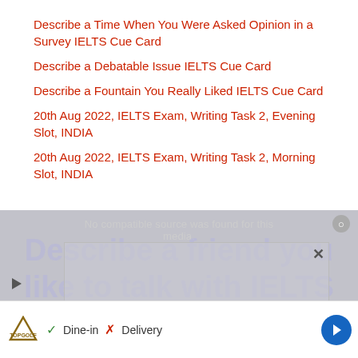Describe a Time When You Were Asked Opinion in a Survey IELTS Cue Card
Describe a Debatable Issue IELTS Cue Card
Describe a Fountain You Really Liked IELTS Cue Card
20th Aug 2022, IELTS Exam, Writing Task 2, Evening Slot, INDIA
20th Aug 2022, IELTS Exam, Writing Task 2, Morning Slot, INDIA
[Figure (screenshot): Overlay ad with 'No compatible source was found for this media' message and a partially visible text about 'Describe a friend you like to talk with IELTS Cue Card'. Bottom bar shows TopGolf ad with Dine-in and Delivery options.]